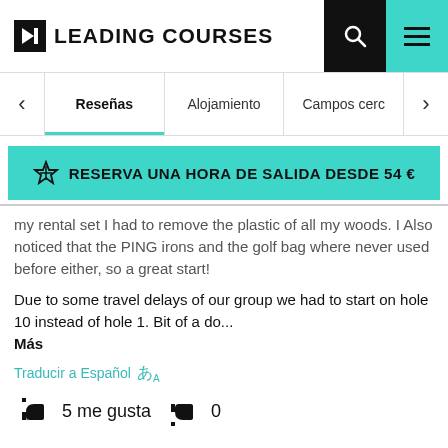LEADING COURSES
Reseñas
Alojamiento
Campos cerc
RESERVA UNA HORA DE SALIDA DESDE 54 €
my rental set I had to remove the plastic of all my woods. I Also noticed that the PING irons and the golf bag where never used before either, so a great start!
Due to some travel delays of our group we had to start on hole 10 instead of hole 1. Bit of a do...
Más
Traducir a Español
5 me gusta   0